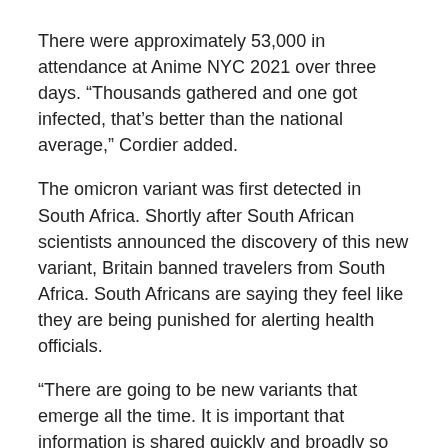There were approximately 53,000 in attendance at Anime NYC 2021 over three days. “Thousands gathered and one got infected, that’s better than the national average,” Cordier added.
The omicron variant was first detected in South Africa. Shortly after South African scientists announced the discovery of this new variant, Britain banned travelers from South Africa. South Africans are saying they feel like they are being punished for alerting health officials.
“There are going to be new variants that emerge all the time. It is important that information is shared quickly and broadly so others can be prepared,” Cordier said.
Closing international borders is not necessarily the best level of protection, he added. “It could have been a solution in October or November of 2019, not right now,” he said.